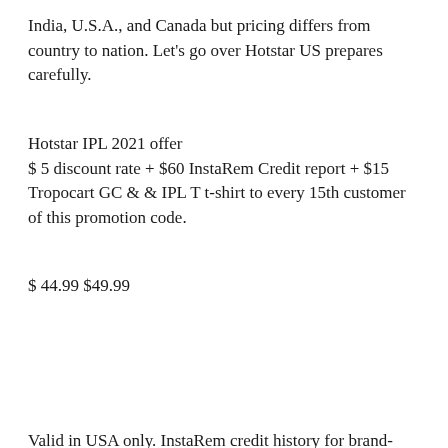India, U.S.A., and Canada but pricing differs from country to nation. Let's go over Hotstar US prepares carefully.
Hotstar IPL 2021 offer
$ 5 discount rate + $60 InstaRem Credit report + $15 Tropocart GC & & IPL T t-shirt to every 15th customer of this promotion code.
$ 44.99 $49.99
Valid in USA only. InstaRem credit history for brand-new